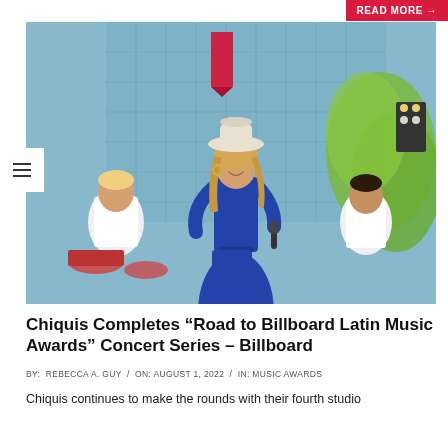READ MORE →
[Figure (photo): Chiquis performing on an outdoor stage wearing a blue denim outfit and white cowboy hat, holding a microphone, smiling and laughing. Band members in white shirts visible in background with drums. Blue glass building and green trees in background.]
Chiquis Completes “Road to Billboard Latin Music Awards” Concert Series – Billboard
BY: REBECCA A. GUY / ON: AUGUST 1, 2022 / IN: MUSIC AWARDS
Chiquis continues to make the rounds with their fourth studio